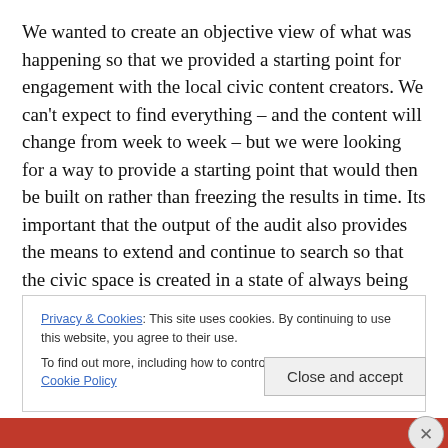We wanted to create an objective view of what was happening so that we provided a starting point for engagement with the local civic content creators. We can't expect to find everything – and the content will change from week to week – but we were looking for a way to provide a starting point that would then be built on rather than freezing the results in time. Its important that the output of the audit also provides the means to extend and continue to search so that the civic space is created in a state of always being open to new voices.
Privacy & Cookies: This site uses cookies. By continuing to use this website, you agree to their use.
To find out more, including how to control cookies, see here: Cookie Policy
Close and accept